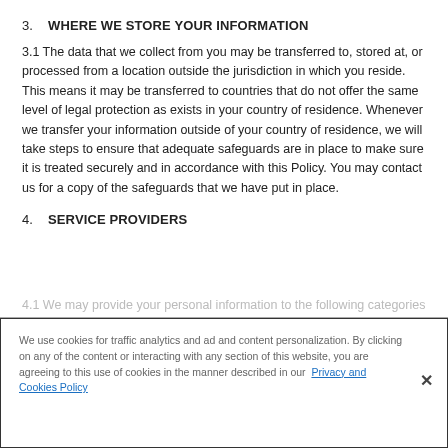3. WHERE WE STORE YOUR INFORMATION
3.1 The data that we collect from you may be transferred to, stored at, or processed from a location outside the jurisdiction in which you reside. This means it may be transferred to countries that do not offer the same level of legal protection as exists in your country of residence. Whenever we transfer your information outside of your country of residence, we will take steps to ensure that adequate safeguards are in place to make sure it is treated securely and in accordance with this Policy. You may contact us for a copy of the safeguards that we have put in place.
4. SERVICE PROVIDERS
We use cookies for traffic analytics and ad and content personalization. By clicking on any of the content or interacting with any section of this website, you are agreeing to this use of cookies in the manner described in our Privacy and Cookies Policy